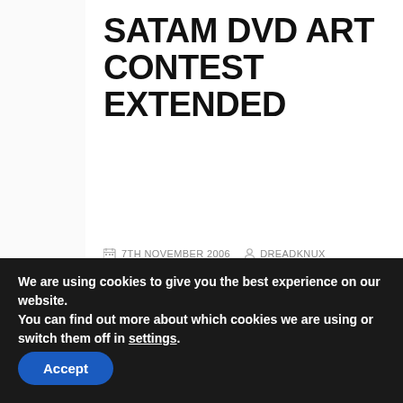SATAM DVD ART CONTEST EXTENDED
7TH NOVEMBER 2006  DREADKNUX
Brian Ward of Shout has announced that the Sonic the Hedgehog: The Complete Series DVD art contest.
The due date is now November 11th.
We are using cookies to give you the best experience on our website.
You can find out more about which cookies we are using or switch them off in settings.